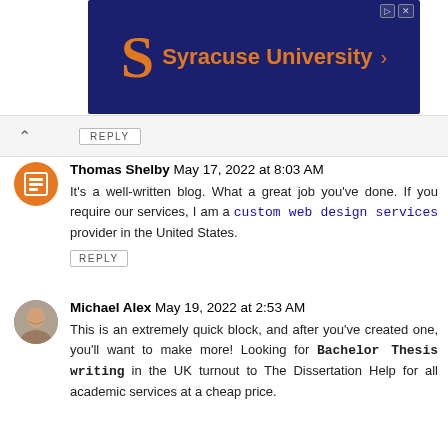[Figure (screenshot): Syracuse University advertisement banner with orange S logo and university name on dark navy background]
REPLY
Thomas Shelby May 17, 2022 at 8:03 AM
It's a well-written blog. What a great job you've done. If you require our services, I am a custom web design services provider in the United States.
REPLY
Michael Alex May 19, 2022 at 2:53 AM
This is an extremely quick block, and after you've created one, you'll want to make more! Looking for Bachelor Thesis writing in the UK turnout to The Dissertation Help for all academic services at a cheap price.